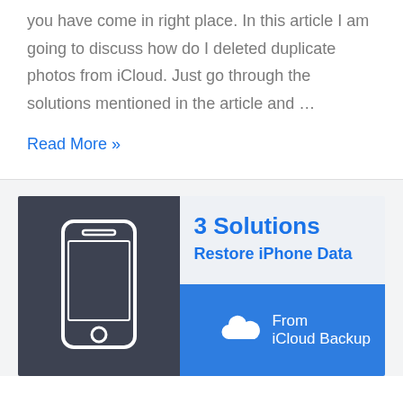you have come in right place. In this article I am going to discuss how do I deleted duplicate photos from iCloud. Just go through the solutions mentioned in the article and …
Read More »
[Figure (infographic): Promotional card with dark left panel showing a phone icon and light right panel showing '3 Solutions Restore iPhone Data From iCloud Backup' in blue text on grey and blue backgrounds.]